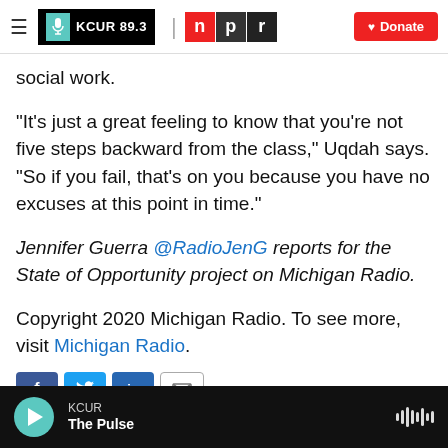KCUR 89.3 | npr | Donate
social work.
"It's just a great feeling to know that you're not five steps backward from the class," Uqdah says. "So if you fail, that's on you because you have no excuses at this point in time."
Jennifer Guerra @RadioJenG reports for the State of Opportunity project on Michigan Radio.
Copyright 2020 Michigan Radio. To see more, visit Michigan Radio.
[Figure (screenshot): Social sharing buttons: Facebook, Twitter, LinkedIn, Email]
KCUR — The Pulse (audio player bar)